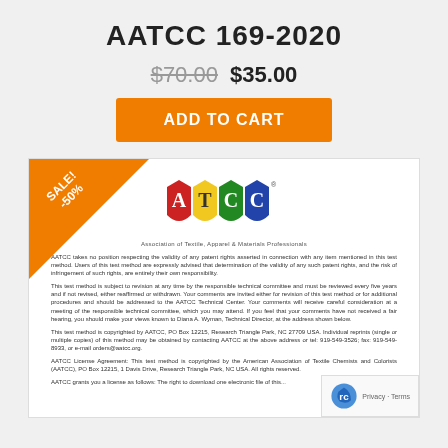AATCC 169-2020
$70.00 $35.00
ADD TO CART
[Figure (logo): AATCC logo with colored shield shapes (red, yellow, green, blue) and text 'Association of Textile, Apparel & Materials Professionals']
AATCC takes no position respecting the validity of any patent rights asserted in connection with any item mentioned in this test method. Users of this test method are expressly advised that determination of the validity of any such patent rights, and the risk of infringement of such rights, are entirely their own responsibility.
This test method is subject to revision at any time by the responsible technical committee and must be reviewed every five years and if not revised, either reaffirmed or withdrawn. Your comments are invited either for revision of this test method or for additional procedures and should be addressed to the AATCC Technical Center. Your comments will receive careful consideration at a meeting of the responsible technical committee, which you may attend. If you feel that your comments have not received a fair hearing, you should make your views known to Diana A. Wyman, Technical Director, at the address shown below.
This test method is copyrighted by AATCC, PO Box 12215, Research Triangle Park, NC 27709 USA. Individual reprints (single or multiple copies) of this method may be obtained by contacting AATCC at the above address or tel: 919-549-3526; fax: 919-549-8933, or e-mail orders@aatcc.org.
AATCC License Agreement: This test method is copyrighted by the American Association of Textile Chemists and Colorists (AATCC), PO Box 12215, 1 Davis Drive, Research Triangle Park, NC USA. All rights reserved.
AATCC grants you a license as follows: The right to download one electronic file of this...